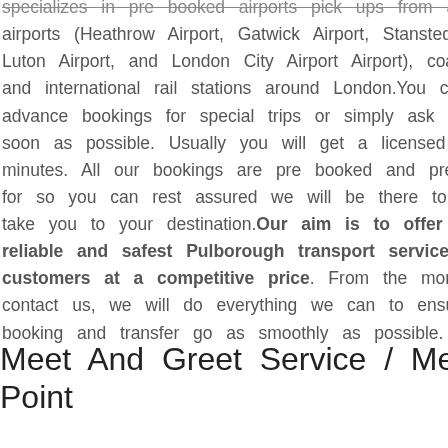specializes in pre booked airports pick ups from all major airports (Heathrow Airport, Gatwick Airport, Stansted Airport, Luton Airport, and London City Airport Airport), coach station and international rail stations around London.You can make advance bookings for special trips or simply ask for a taxi as soon as possible. Usually you will get a licensed taxi within 15 minutes. All our bookings are pre booked and pre paid & cash for so you can rest assured we will be there to meet you or take you to your destination.Our aim is to offer the best reliable and safest Pulborough transport service to all our customers at a competitive price. From the moment you contact us, we will do everything we can to ensure that your booking and transfer go as smoothly as possible.
Meet And Greet Service / Meeting Point